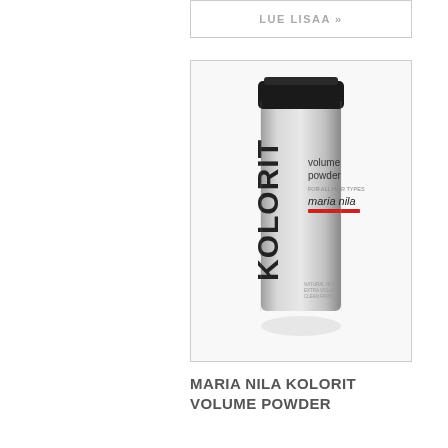LUE LISAA »
[Figure (photo): Maria Nila Kolorit Volume Powder product bottle — a silver/grey cylindrical container with black cap, branded KOLORIT vertically on the side and 'volume powder' and 'maria nila' text with a red stripe on the label.]
MARIA NILA KOLORIT VOLUME POWDER